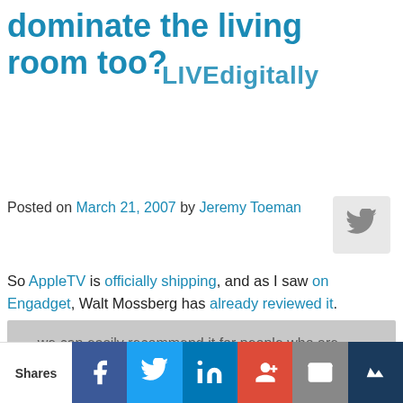dominate the living room too?
LIVEdigitally
Posted on March 21, 2007 by Jeremy Toeman
So AppleTV is officially shipping, and as I saw on Engadget, Walt Mossberg has already reviewed it. Some excerpts:
... we can easily recommend it for people who are yearning for a simple way to show on their big TVs all that stuff trapped on their computers.

Apple is hoping that, just as the iPod trumped earlier, but geekier, rivals, Apple TV can do the same by making a complex task really simple...
Shares | Facebook | Twitter | LinkedIn | Google+ | Email | Crown